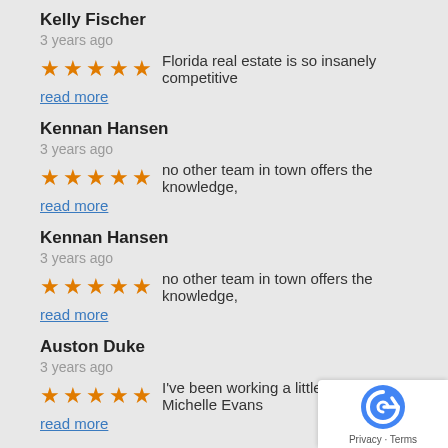Kelly Fischer
3 years ago
Florida real estate is so insanely competitive
read more
Kennan Hansen
3 years ago
no other team in town offers the knowledge,
read more
Kennan Hansen
3 years ago
no other team in town offers the knowledge,
read more
Auston Duke
3 years ago
I've been working a little with Michelle Evans
read more
Kala Evans
3 years ago